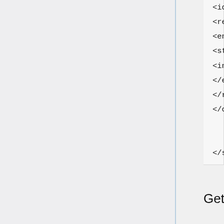<id>C0206754</id>
<relations>
<entry>
<string>Level</string>
<int>1</int>
</entry>
</relations>
</classBean>
                    </list>
            </data>
</success>
Get parents/children of a given concept in the latest